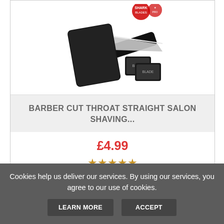[Figure (photo): Product photo of a barber cut throat straight razor with black case and blade accessories on white background]
BARBER CUT THROAT STRAIGHT SALON SHAVING...
£4.99
★★★★★
ⓘ VIEW
🛒 BUY ON EBAY
Cookies help us deliver our services. By using our services, you agree to our use of cookies.
LEARN MORE
ACCEPT